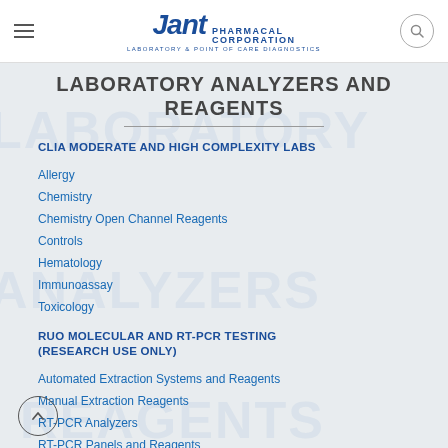Jant Pharmacal Corporation — Laboratory & Point of Care Diagnostics
LABORATORY ANALYZERS AND REAGENTS
CLIA MODERATE AND HIGH COMPLEXITY LABS
Allergy
Chemistry
Chemistry Open Channel Reagents
Controls
Hematology
Immunoassay
Toxicology
RUO MOLECULAR AND RT-PCR TESTING (RESEARCH USE ONLY)
Automated Extraction Systems and Reagents
Manual Extraction Reagents
RT-PCR Analyzers
RT-PCR Panels and Reagents